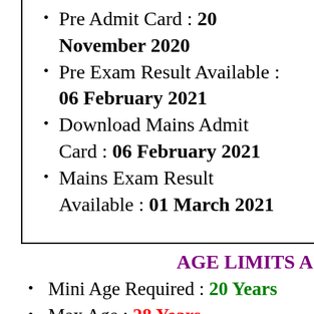Pre Admit Card : 20 November 2020
Pre Exam Result Available : 06 February 2021
Download Mains Admit Card : 06 February 2021
Mains Exam Result Available : 01 March 2021
AGE LIMITS AS ON 1 SEPTE...
Mini Age Required : 20 Years
Max Age : 28 Years